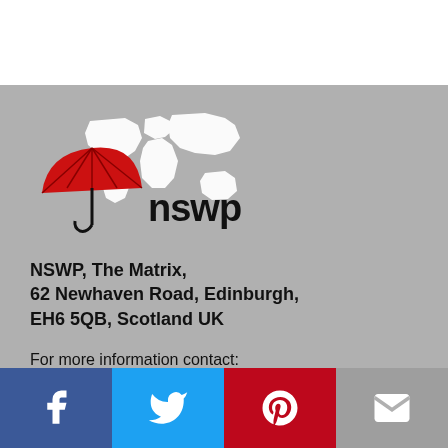[Figure (logo): NSWP logo with red umbrella and white world map silhouette, text 'nswp' in bold]
NSWP, The Matrix,
62 Newhaven Road, Edinburgh,
EH6 5QB, Scotland UK
For more information contact:
+44 (0)131 553 2555
secretariat@nswp.org
Log in
Contact us
Cookie policy
[Figure (other): Social media share bar with Facebook (blue), Twitter (light blue), Pinterest (red), and email (gray) icons]